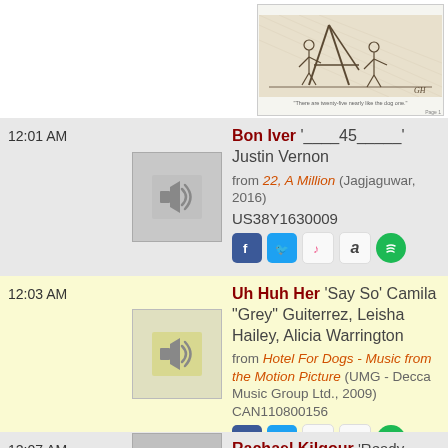[Figure (illustration): Vintage engraving illustration showing figures near a structure, with a small caption below the image]
12:01 AM
[Figure (other): Speaker/audio thumbnail icon on grey background]
Bon Iver '____45_____' Justin Vernon from 22, A Million (Jagjaguwar, 2016) US38Y1630009
12:03 AM
[Figure (other): Speaker/audio thumbnail icon on yellow background]
Uh Huh Her 'Say So' Camila "Grey" Guiterrez, Leisha Hailey, Alicia Warrington from Hotel For Dogs - Music from the Motion Picture (UMG - Decca Music Group Ltd., 2009) CAN110800156
12:07 AM
Rachael Kilgour 'Ready Freddie'